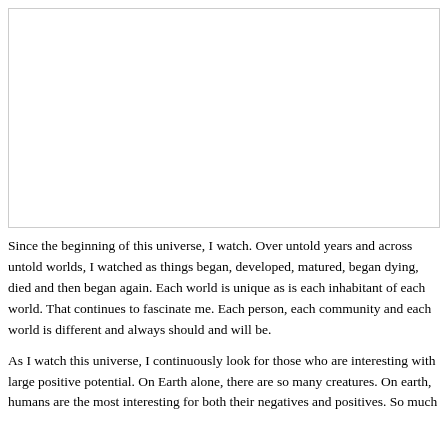[Figure (other): Blank white image placeholder with a thin border]
Since the beginning of this universe, I watch. Over untold years and across untold worlds, I watched as things began, developed, matured, began dying, died and then began again. Each world is unique as is each inhabitant of each world. That continues to fascinate me. Each person, each community and each world is different and always should and will be.
As I watch this universe, I continuously look for those who are interesting with large positive potential. On Earth alone, there are so many creatures. On earth, humans are the most interesting for both their negatives and positives. So much